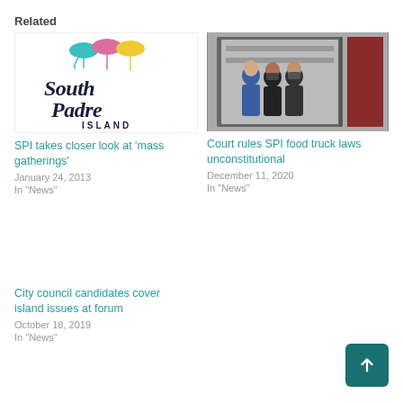Related
[Figure (logo): South Padre Island logo with colorful umbrella icons and stylized script text]
SPI takes closer look at 'mass gatherings'
January 24, 2013
In "News"
[Figure (photo): Group of people wearing masks standing inside a food truck doorway]
Court rules SPI food truck laws unconstitutional
December 11, 2020
In "News"
City council candidates cover island issues at forum
October 18, 2019
In "News"